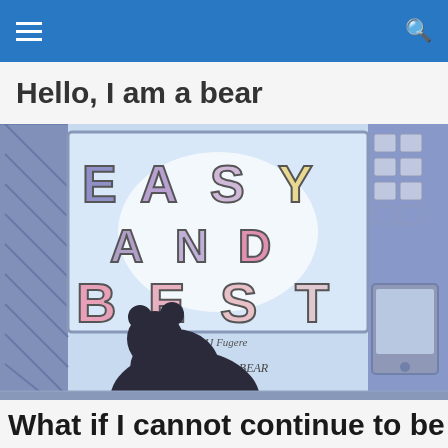Hello, I am a bear
[Figure (illustration): Comic book cover illustration showing the text EASY AND BEST in large decorated letters on what appears to be a store window or sign, with a dark bear silhouette in the foreground. Text 'by Matt + MJ Fugere' and '@A_SINGLE_BEAR' appear at the bottom of the illustration.]
What if I cannot continue to be